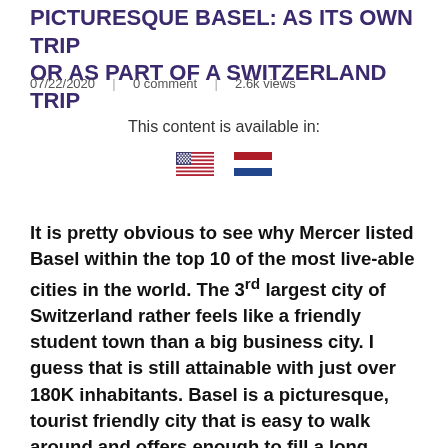PICTURESQUE BASEL: AS ITS OWN TRIP OR AS PART OF A SWITZERLAND TRIP
07/22/2020  |  0 comment  |  2.6k views
This content is available in:
[Figure (illustration): US flag emoji and Netherlands flag emoji side by side]
It is pretty obvious to see why Mercer listed Basel within the top 10 of the most live-able cities in the world. The 3rd largest city of Switzerland rather feels like a friendly student town than a big business city. I guess that is still attainable with just over 180K inhabitants. Basel is a picturesque, tourist friendly city that is easy to walk around and offers enough to fill a long weekend. Or, like many do, use Basel as a